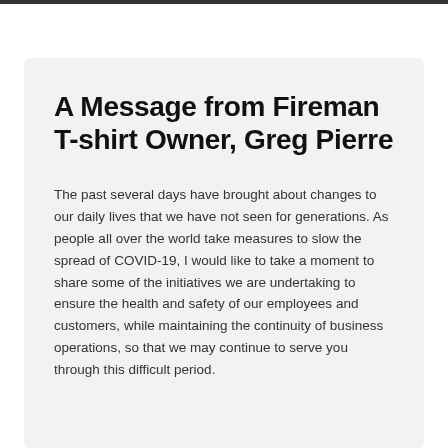A Message from Fireman T-shirt Owner, Greg Pierre
The past several days have brought about changes to our daily lives that we have not seen for generations. As people all over the world take measures to slow the spread of COVID-19, I would like to take a moment to share some of the initiatives we are undertaking to ensure the health and safety of our employees and customers, while maintaining the continuity of business operations, so that we may continue to serve you through this difficult period.